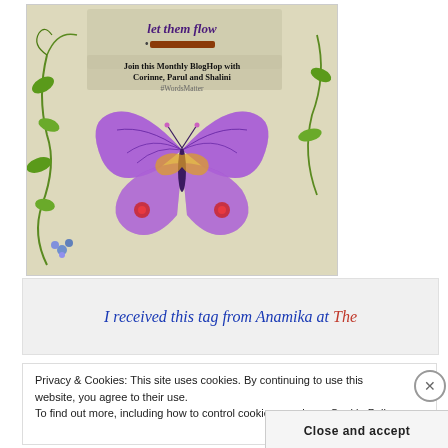[Figure (illustration): Blog hop promotional image with butterfly illustration, floral vines, text 'let them flow', pencil icon, and text 'Join this Monthly BlogHop with Corinne, Parul and Shalini #WordsMatter']
I received this tag from Anamika at The
Privacy & Cookies: This site uses cookies. By continuing to use this website, you agree to their use.
To find out more, including how to control cookies, see here: Cookie Policy
Close and accept